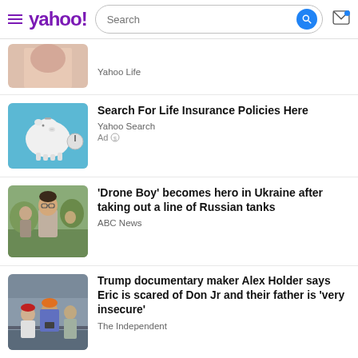yahoo! [search bar] [mail icon]
[Figure (photo): Partial news thumbnail showing bare skin/shoulders, Yahoo Life article]
Yahoo Life
[Figure (photo): Piggy bank on blue background for life insurance ad]
Search For Life Insurance Policies Here
Yahoo Search
Ad
[Figure (photo): Boy with glasses working on drone with others outdoors]
'Drone Boy' becomes hero in Ukraine after taking out a line of Russian tanks
ABC News
[Figure (photo): Group of people outdoors including man in orange hat and man in red cap]
Trump documentary maker Alex Holder says Eric is scared of Don Jr and their father is ‘very insecure’
The Independent